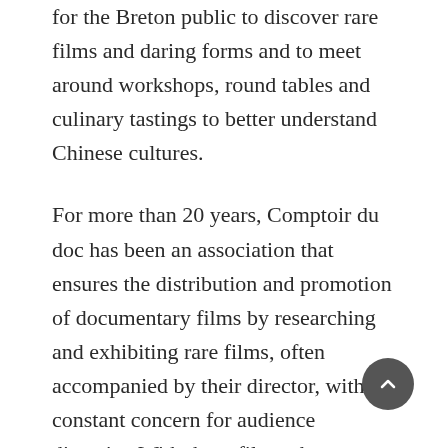for the Breton public to discover rare films and daring forms and to meet around workshops, round tables and culinary tastings to better understand Chinese cultures.
For more than 20 years, Comptoir du doc has been an association that ensures the distribution and promotion of documentary films by researching and exhibiting rare films, often accompanied by their director, with a constant concern for audience diversity. With these films, the association creates spaces for encounters, reflection and exchange.
Founder of the CIFA based at Newcastle